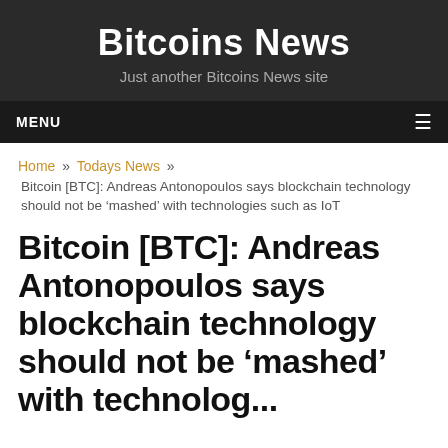Bitcoins News
Just another Bitcoins News site
MENU
Home » Todays News » Bitcoin [BTC]: Andreas Antonopoulos says blockchain technology should not be 'mashed' with technologies such as IoT
Bitcoin [BTC]: Andreas Antonopoulos says blockchain technology should not be 'mashed'...